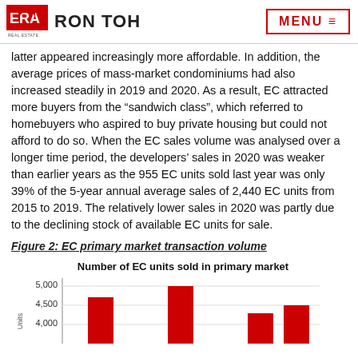RON TOH | MENU
latter appeared increasingly more affordable. In addition, the average prices of mass-market condominiums had also increased steadily in 2019 and 2020. As a result, EC attracted more buyers from the “sandwich class”, which referred to homebuyers who aspired to buy private housing but could not afford to do so. When the EC sales volume was analysed over a longer time period, the developers’ sales in 2020 was weaker than earlier years as the 955 EC units sold last year was only 39% of the 5-year annual average sales of 2,440 EC units from 2015 to 2019. The relatively lower sales in 2020 was partly due to the declining stock of available EC units for sale.
Figure 2: EC primary market transaction volume
[Figure (bar-chart): Bar chart showing number of EC units sold in primary market, partial view showing y-axis labels 5,000 / 4,500 / 4,000 and partial bars]